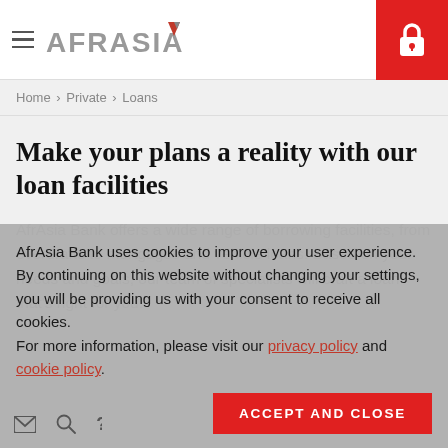AfrAsia (logo) | Lock/Login button
Home › Private › Loans
Make your plans a reality with our loan facilities
AfrAsia Bank offers a wide range of borrowing facilities, from overdrafts to mortgages and vehicle loans. Based on your needs and goals, our team of specialists will craft a loan that's right for you.
AfrAsia Bank uses cookies to improve your user experience. By continuing on this website without changing your settings, you will be providing us with your consent to receive all cookies. For more information, please visit our privacy policy and cookie policy.
ACCEPT AND CLOSE